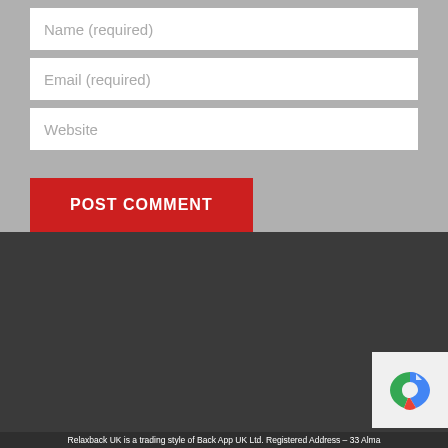Name (required)
Email (required)
Website
POST COMMENT
[Figure (other): reCAPTCHA logo widget in bottom right corner]
Relaxback UK is a trading style of Back App UK Ltd. Registered Address – 33 Alma